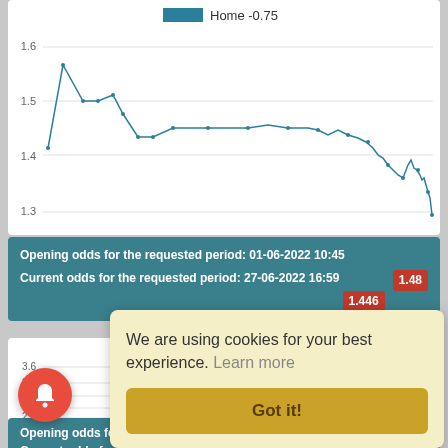[Figure (continuous-plot): Line chart showing Home -0.75 odds over time, y-axis from 1.3 to 1.6, trend declining from ~1.5 to ~1.3 at the end]
Opening odds for the requested period: 01-06-2022 10:45
Current odds for the requested period: 27-06-2022 16:59
1.48
1.446
[Figure (continuous-plot): Line chart showing Away +0.75 odds over time, y-axis from 2.6 to 3.6, short series with few visible points around 2.6-2.8]
Opening odds for the requested period: 01-06-2022 10:45
Current odds for the requested period: 27-06-2022
2.75
We are using cookies for your best experience. Learn more
Got it!
[Figure (illustration): Red circular bell notification button]